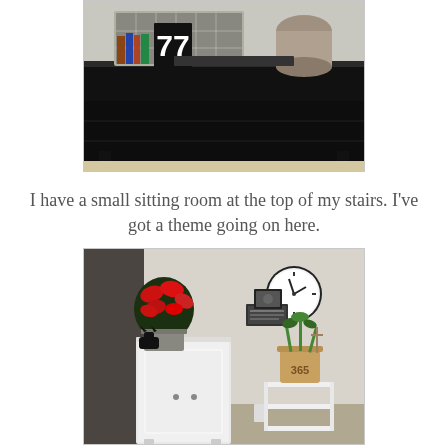[Figure (photo): A black wooden desk with a wire mesh organizer on top containing books and items, with the number 77 visible, and a cylindrical object on the right side.]
I have a small sitting room at the top of my stairs. I've got a theme going on here.
[Figure (photo): A small sitting room at the top of stairs featuring a white painted cabinet, red poinsettia flowers, a wall clock, a framed sign, a basket with plants marked 365, and a white shelf unit.]